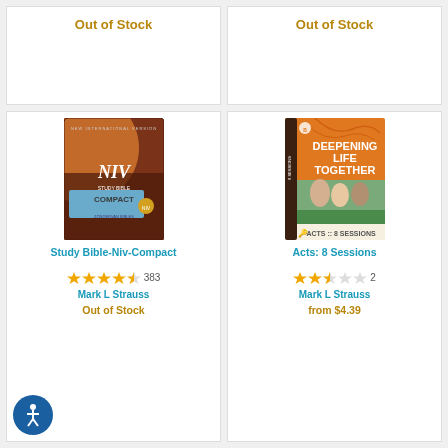Out of Stock
Out of Stock
[Figure (photo): NIV Compact Study Bible book cover in brown/tan leather]
Study Bible-Niv-Compact
4.5 stars, 383 reviews
Mark L Strauss
Out of Stock
[Figure (photo): Deepening Life Together: Acts 8 Sessions book cover, orange with group photo]
Acts: 8 Sessions
2.5 stars, 2 reviews
Mark L Strauss
from $4.39